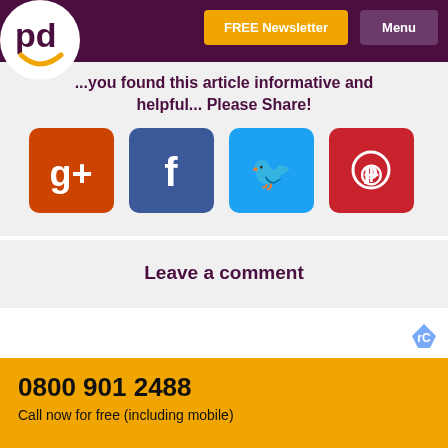FREE Newsletter  Menu
[Figure (logo): PD logo — circular white badge with purple 'pd' letters and orange smile arc]
...you found this article informative and helpful... Please Share!
[Figure (infographic): Four social media share buttons: Google+, Facebook, Twitter, Pinterest]
Leave a comment
0800 901 2488
Call now for free (including mobile)